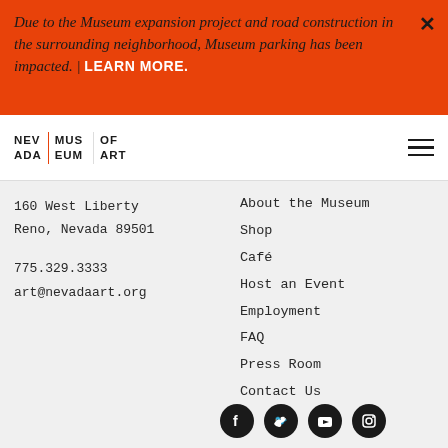Due to the Museum expansion project and road construction in the surrounding neighborhood, Museum parking has been impacted. | LEARN MORE.
[Figure (logo): Nevada Museum of Art logo with text NEV|MUS|OF / ADA|EUM|ART in bold monospace style]
160 West Liberty
Reno, Nevada 89501
775.329.3333
art@nevadaart.org
About the Museum
Shop
Café
Host an Event
Employment
FAQ
Press Room
Contact Us
[Figure (other): Social media icons: Facebook, Twitter, YouTube, Instagram — black circles with white icons]